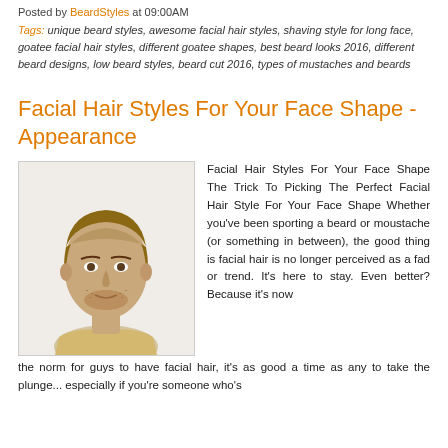Posted by BeardStyles at 09:00AM
Tags: unique beard styles, awesome facial hair styles, shaving style for long face, goatee facial hair styles, different goatee shapes, best beard looks 2016, different beard designs, low beard styles, beard cut 2016, types of mustaches and beards
Facial Hair Styles For Your Face Shape - Appearance
[Figure (photo): A man with short stubble beard and light brown hair wearing a cream turtleneck sweater, photographed against a white background.]
Facial Hair Styles For Your Face Shape The Trick To Picking The Perfect Facial Hair Style For Your Face Shape Whether you've been sporting a beard or moustache (or something in between), the good thing is facial hair is no longer perceived as a fad or trend. It's here to stay. Even better? Because it's now the norm for guys to have facial hair, it's as good a time as any to take the plunge... especially if you're someone who's